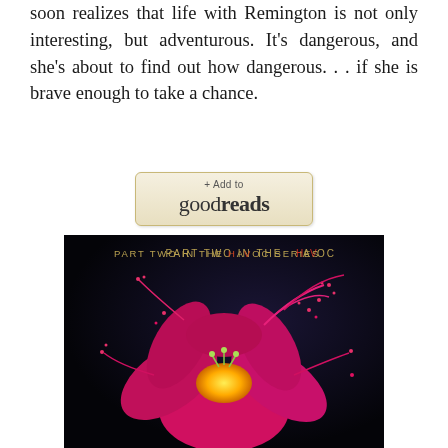soon realizes that life with Remington is not only interesting, but adventurous. It's dangerous, and she's about to find out how dangerous. . . if she is brave enough to take a chance.
[Figure (screenshot): Goodreads '+ Add to goodreads' button with beige/cream gradient background and gold border]
[Figure (photo): Book cover for Part Two in the Havoc Series showing a vivid red/pink lily flower with liquid splash effect against a dark black/navy background. Text at top reads 'PART TWO IN THE HAVOC SERIES' with 'HAVOC' in orange/red color. The flower has a bright yellow center.]